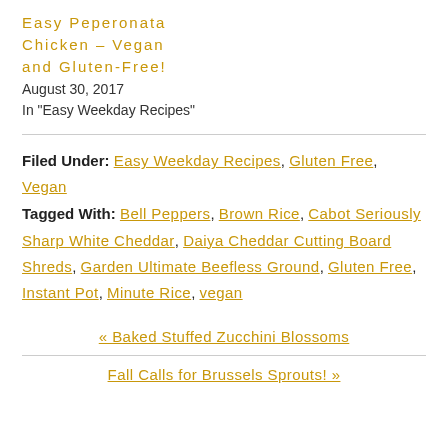Easy Peperonata Chicken – Vegan and Gluten-Free!
August 30, 2017
In "Easy Weekday Recipes"
Filed Under: Easy Weekday Recipes, Gluten Free, Vegan
Tagged With: Bell Peppers, Brown Rice, Cabot Seriously Sharp White Cheddar, Daiya Cheddar Cutting Board Shreds, Garden Ultimate Beefless Ground, Gluten Free, Instant Pot, Minute Rice, vegan
« Baked Stuffed Zucchini Blossoms
Fall Calls for Brussels Sprouts! »